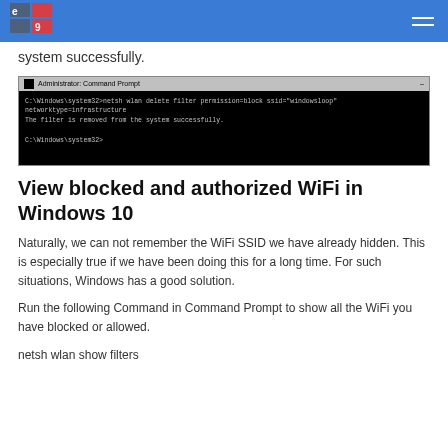system successfully.
[Figure (screenshot): Administrator Command Prompt window showing command: C:\Windows\system32>netsh wlan delete filter permission=block ssid="windowsloop" networktype=infrastructure
The filter is removed from the system successfully.
C:\Windows\system32>]
View blocked and authorized WiFi in Windows 10
Naturally, we can not remember the WiFi SSID we have already hidden. This is especially true if we have been doing this for a long time. For such situations, Windows has a good solution.
Run the following Command in Command Prompt to show all the WiFi you have blocked or allowed.
netsh wlan show filters